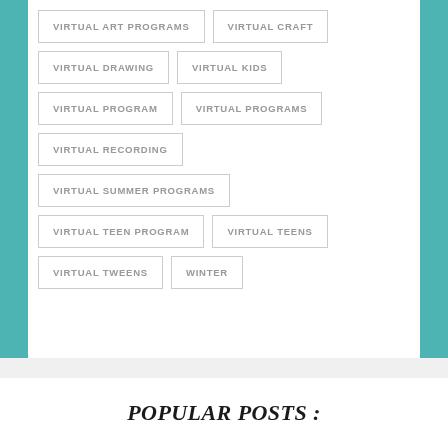VIRTUAL ART PROGRAMS
VIRTUAL CRAFT
VIRTUAL DRAWING
VIRTUAL KIDS
VIRTUAL PROGRAM
VIRTUAL PROGRAMS
VIRTUAL RECORDING
VIRTUAL SUMMER PROGRAMS
VIRTUAL TEEN PROGRAM
VIRTUAL TEENS
VIRTUAL TWEENS
WINTER
POPULAR POSTS :